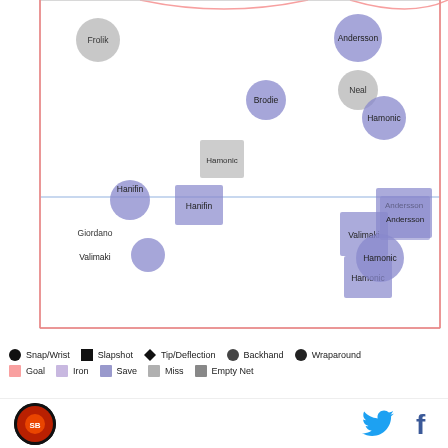[Figure (scatter-plot): Scatter plot showing shot locations for Flames players (Frolik, Hanifin, Giordano, Valimaki, Hamonic, Brodie, Neal, Andersson) against the Avalanche, with markers indicating shot type (circle=snap/wrist, square=slapshot, diamond=tip/deflection) and outcome (pink=goal, purple=save, gray=miss). Two zones shown separated by blue line.]
Snap/Wrist | Slapshot | Tip/Deflection | Backhand | Wraparound | Goal | Iron | Save | Miss | Empty Net
It's a pretty marked difference. The Avalanche were able to keep the Flames to the outside, when they